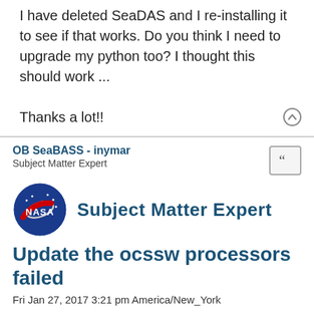I have deleted SeaDAS and I re-installing it to see if that works. Do you think I need to upgrade my python too? I thought this should work ...
Thanks a lot!!
OB SeaBASS - inymar
Subject Matter Expert
[Figure (logo): NASA logo with 'Subject Matter Expert' text in blue]
Update the ocssw processors failed
Fri Jan 27, 2017 3:21 pm America/New_York
Hello everyone,